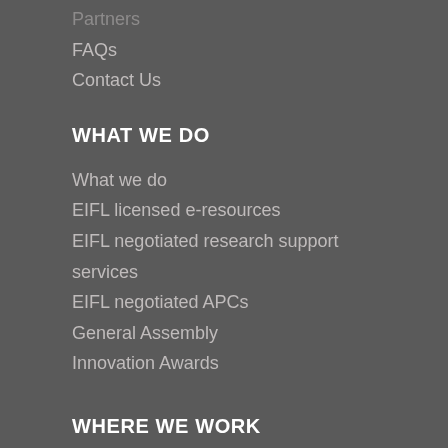Partners
FAQs
Contact Us
WHAT WE DO
What we do
EIFL licensed e-resources
EIFL negotiated research support services
EIFL negotiated APCs
General Assembly
Innovation Awards
WHERE WE WORK
EIFL partner and project countries
RESOURCES
Copyright
Free and open source software (FOSS) for libraries
Library consortia development